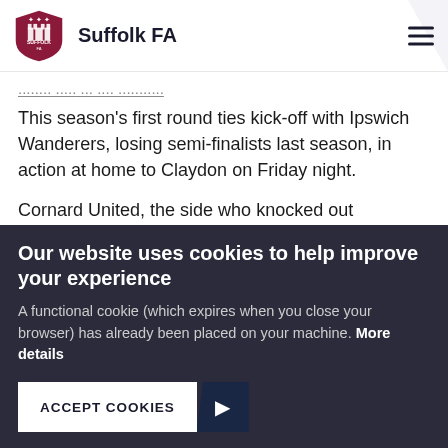Suffolk FA
...with two wins in all matches.
This season's first round ties kick-off with Ipswich Wanderers, losing semi-finalists last season, in action at home to Claydon on Friday night.
Cornard United, the side who knocked out Wanderers, face a tricky trip to another SIL side, Capel Plough, the following afternoon.
Our website uses cookies to help improve your experience
A functional cookie (which expires when you close your browser) has already been placed on your machine. More details
ACCEPT COOKIES